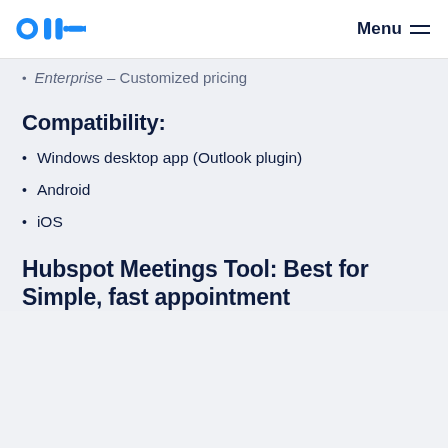Oll-i | Menu
Enterprise – Customized pricing
Compatibility:
Windows desktop app (Outlook plugin)
Android
iOS
Hubspot Meetings Tool: Best for Simple, fast appointment